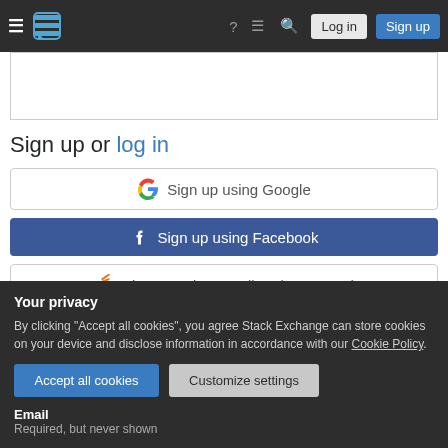Stack Exchange navigation bar with hamburger menu, logo, help, chat, search, Log in, Sign up
Sign up or log in
Sign up using Google
Sign up using Facebook
Sign up using Email and Password
Your privacy
By clicking "Accept all cookies", you agree Stack Exchange can store cookies on your device and disclose information in accordance with our Cookie Policy.
Accept all cookies
Customize settings
Email
Required, but never shown